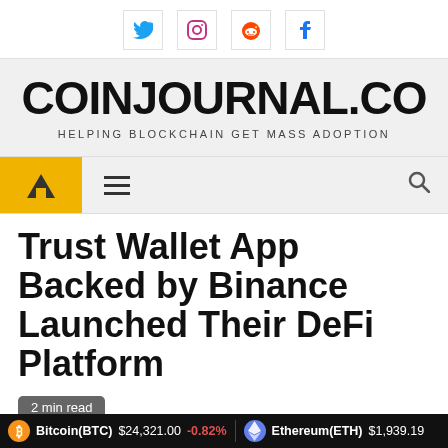Social icons: Twitter, Instagram, Reddit, Facebook
COINJOURNAL.CO
HELPING BLOCKCHAIN GET MASS ADOPTION
Navigation bar with home icon, menu icon, search icon
Trust Wallet App Backed by Binance Launched Their DeFi Platform
2 min read
3 years ago   rvncrpto
Bitcoin(BTC) $24,321.00  -0.82%   Ethereum(ETH) $1,939.19